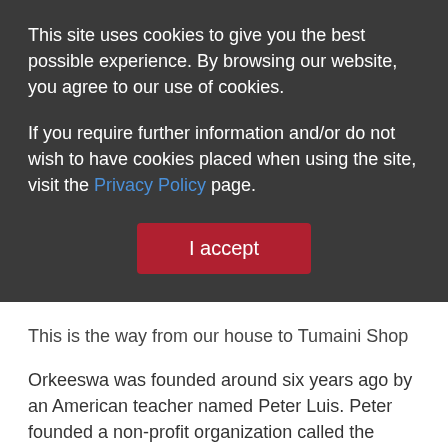This site uses cookies to give you the best possible experience. By browsing our website, you agree to our use of cookies.
If you require further information and/or do not wish to have cookies placed when using the site, visit the Privacy Policy page.
I accept
This is the way from our house to Tumaini Shop
Orkeeswa was founded around six years ago by an American teacher named Peter Luis. Peter founded a non-profit organization called the Indigenous Education Foundation of Tanzania (IEFT) to administer